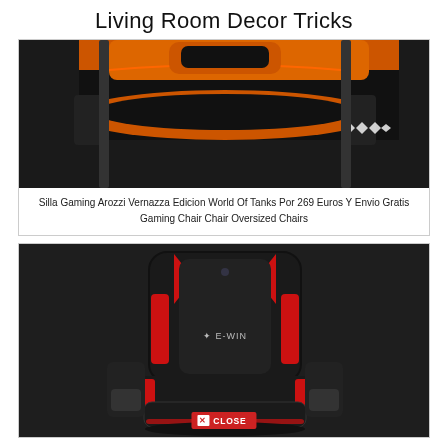Living Room Decor Tricks
[Figure (photo): Close-up of black and orange gaming chair with World of Tanks branding and diamond logo marks on the side]
Silla Gaming Arozzi Vernazza Edicion World Of Tanks Por 269 Euros Y Envio Gratis Gaming Chair Chair Oversized Chairs
[Figure (photo): Black and red gaming chair with E-WIN branding, front view, with red accent stripes and armrests]
CLOSE